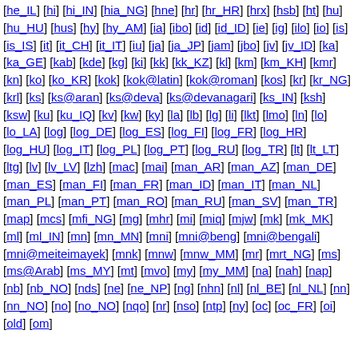[he_IL] [hi] [hi_IN] [hia_NG] [hne] [hr] [hr_HR] [hrx] [hsb] [ht] [hu] [hu_HU] [hus] [hy] [hy_AM] [ia] [ibo] [id] [id_ID] [ie] [ig] [ilo] [io] [is] [is_IS] [it] [it_CH] [it_IT] [iu] [ja] [ja_JP] [jam] [jbo] [jv] [jv_ID] [ka] [ka_GE] [kab] [kde] [kg] [ki] [kk] [kk_KZ] [kl] [km] [km_KH] [kmr] [kn] [ko] [ko_KR] [kok] [kok@latin] [kok@roman] [kos] [kr] [kr_NG] [krl] [ks] [ks@aran] [ks@deva] [ks@devanagari] [ks_IN] [ksh] [ksw] [ku] [ku_IQ] [kv] [kw] [ky] [la] [lb] [lg] [li] [lkt] [lmo] [ln] [lo] [lo_LA] [log] [log_DE] [log_ES] [log_FI] [log_FR] [log_HR] [log_HU] [log_IT] [log_PL] [log_PT] [log_RU] [log_TR] [lt] [lt_LT] [ltg] [lv] [lv_LV] [lzh] [mac] [mai] [man_AR] [man_AZ] [man_DE] [man_ES] [man_FI] [man_FR] [man_ID] [man_IT] [man_NL] [man_PL] [man_PT] [man_RO] [man_RU] [man_SV] [man_TR] [map] [mcs] [mfi_NG] [mg] [mhr] [mi] [miq] [mjw] [mk] [mk_MK] [ml] [ml_IN] [mn] [mn_MN] [mni] [mni@beng] [mni@bengali] [mni@meiteimayek] [mnk] [mnw] [mnw_MM] [mr] [mrt_NG] [ms] [ms@Arab] [ms_MY] [mt] [mvo] [my] [my_MM] [na] [nah] [nap] [nb] [nb_NO] [nds] [ne] [ne_NP] [ng] [nhn] [nl] [nl_BE] [nl_NL] [nn] [nn_NO] [no] [no_NO] [nqo] [nr] [nso] [ntp] [ny] [oc] [oc_FR] [oi] [old] [om]